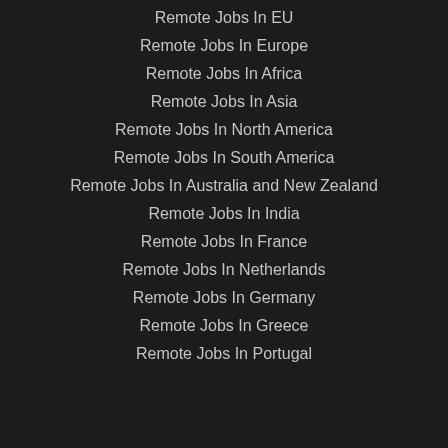Remote Jobs In EU
Remote Jobs In Europe
Remote Jobs In Africa
Remote Jobs In Asia
Remote Jobs In North America
Remote Jobs In South America
Remote Jobs In Australia and New Zealand
Remote Jobs In India
Remote Jobs In France
Remote Jobs In Netherlands
Remote Jobs In Germany
Remote Jobs In Greece
Remote Jobs In Portugal